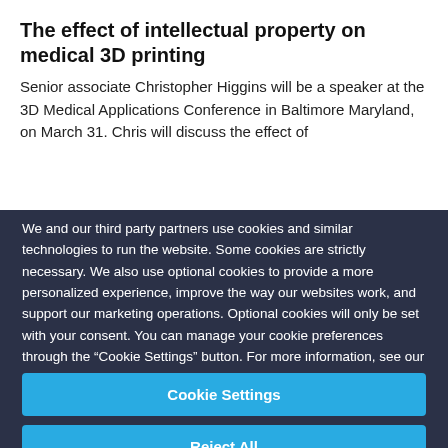The effect of intellectual property on medical 3D printing
Senior associate Christopher Higgins will be a speaker at the 3D Medical Applications Conference in Baltimore Maryland, on March 31. Chris will discuss the effect of
We and our third party partners use cookies and similar technologies to run the website. Some cookies are strictly necessary. We also use optional cookies to provide a more personalized experience, improve the way our websites work, and support our marketing operations. Optional cookies will only be set with your consent. You can manage your cookie preferences through the “Cookie Settings” button. For more information, see our Privacy Notice and Cookie Notice.
Cookie Settings
Reject All
Accept All